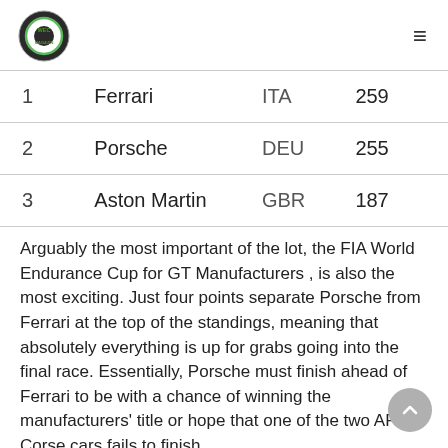WEC Magazine logo and navigation
| # | Team | Country | Points |
| --- | --- | --- | --- |
| 1 | Ferrari | ITA | 259 |
| 2 | Porsche | DEU | 255 |
| 3 | Aston Martin | GBR | 187 |
Arguably the most important of the lot, the FIA World Endurance Cup for GT Manufacturers , is also the most exciting. Just four points separate Porsche from Ferrari at the top of the standings, meaning that absolutely everything is up for grabs going into the final race. Essentially, Porsche must finish ahead of Ferrari to be with a chance of winning the manufacturers' title or hope that one of the two AF Corse cars fails to finish.